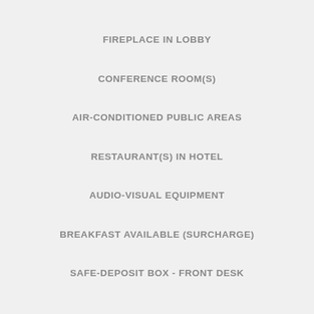FIREPLACE IN LOBBY
CONFERENCE ROOM(S)
AIR-CONDITIONED PUBLIC AREAS
RESTAURANT(S) IN HOTEL
AUDIO-VISUAL EQUIPMENT
BREAKFAST AVAILABLE (SURCHARGE)
SAFE-DEPOSIT BOX - FRONT DESK